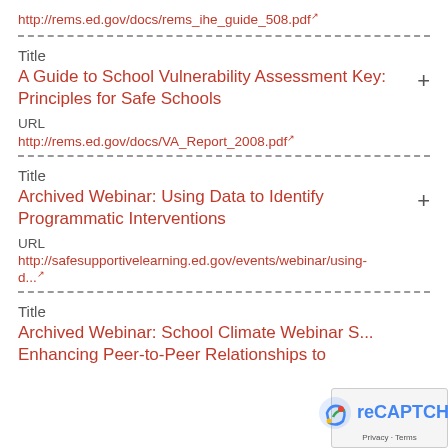http://rems.ed.gov/docs/rems_ihe_guide_508.pdf
Title
A Guide to School Vulnerability Assessment Key: Principles for Safe Schools
URL
http://rems.ed.gov/docs/VA_Report_2008.pdf
Title
Archived Webinar: Using Data to Identify Programmatic Interventions
URL
http://safesupportivelearning.ed.gov/events/webinar/using-d...
Title
Archived Webinar: School Climate Webinar S... Enhancing Peer-to-Peer Relationships to